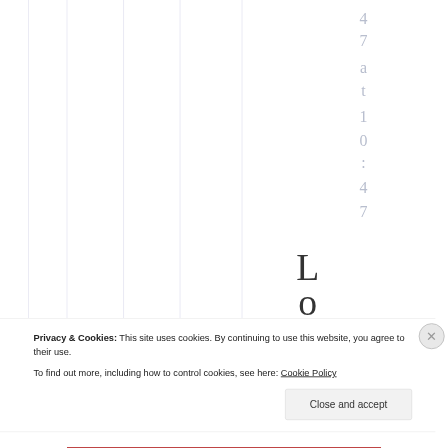[Figure (other): Screenshot of a webpage partially visible in the background, showing vertical column lines (table or chart grid), rotated text reading '47 at 10:47' on the right side, and large serif letters 'L' and 'o' visible below center-right. A cookie consent banner overlays the lower portion of the page with text about cookies and a 'Close and accept' button. A red bar is visible at the very bottom.]
Privacy & Cookies: This site uses cookies. By continuing to use this website, you agree to their use.
To find out more, including how to control cookies, see here: Cookie Policy
Close and accept